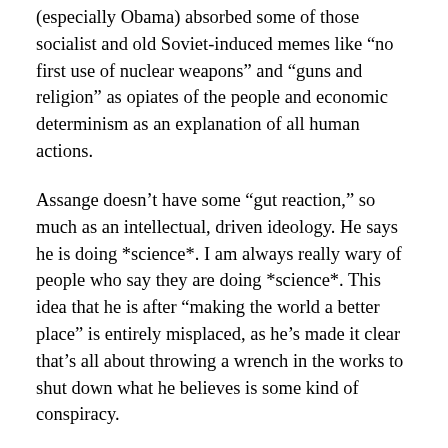(especially Obama) absorbed some of those socialist and old Soviet-induced memes like “no first use of nuclear weapons” and “guns and religion” as opiates of the people and economic determinism as an explanation of all human actions.
Assange doesn’t have some “gut reaction,” so much as an intellectual, driven ideology. He says he is doing *science*. I am always really wary of people who say they are doing *science*. This idea that he is after “making the world a better place” is entirely misplaced, as he’s made it clear that’s all about throwing a wrench in the works to shut down what he believes is some kind of conspiracy.